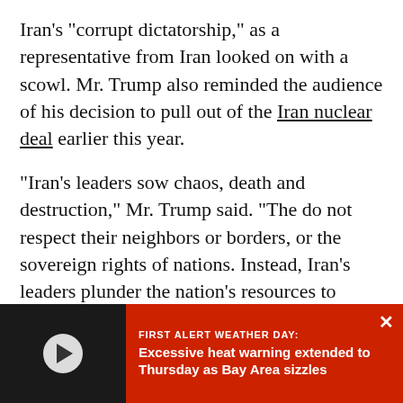Iran's "corrupt dictatorship," as a representative from Iran looked on with a scowl. Mr. Trump also reminded the audience of his decision to pull out of the Iran nuclear deal earlier this year.

"Iran's leaders sow chaos, death and destruction," Mr. Trump said. "The do not respect their neighbors or borders, or the sovereign rights of nations. Instead, Iran's leaders plunder the nation's resources to enrich themselves and to spread mayhem across the Middle East and far behind. The Iranian people are rightly outraged that their leaders have embezzled billions of dollars from Iran's treasury, seized valuable por[tions of...] the people's religio[us endowments for their] own pockets and se[lf-enrichment for the common] good."
[Figure (screenshot): A red alert banner overlay at the bottom of the page showing 'FIRST ALERT WEATHER DAY: Excessive heat warning extended to Thursday as Bay Area sizzles' with a play button for a video on the left side and a close (X) button on the right.]